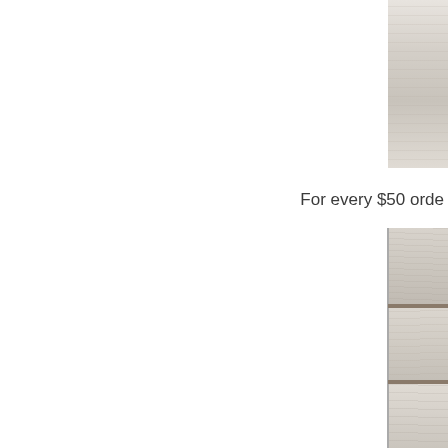[Figure (photo): Partial view of a weathered white-painted wooden surface, cropped to the top-right corner of the page]
For every $50 orde
[Figure (photo): Partial view of a weathered white-painted wooden surface with horizontal planks, divided by dark horizontal bands, cropped to the right side of the lower portion of the page]